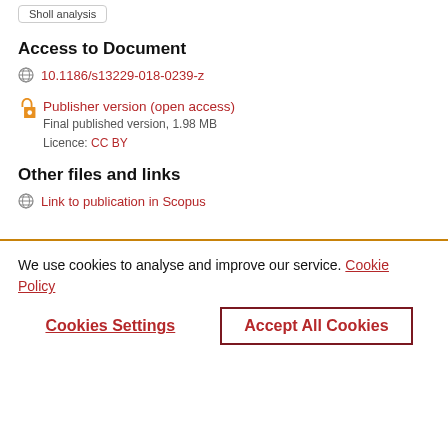Sholl analysis
Access to Document
10.1186/s13229-018-0239-z
Publisher version (open access)
Final published version, 1.98 MB
Licence: CC BY
Other files and links
Link to publication in Scopus
We use cookies to analyse and improve our service. Cookie Policy
Cookies Settings
Accept All Cookies